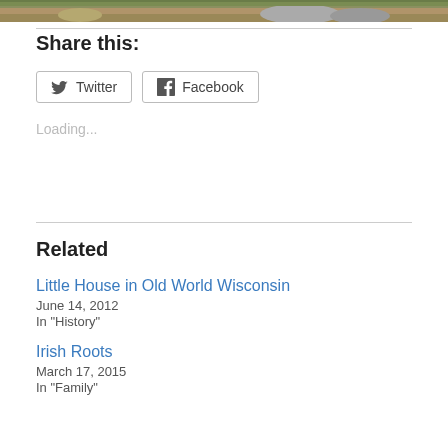[Figure (photo): Top strip of an outdoor photograph showing grass, dirt, and rocks]
Share this:
Twitter
Facebook
Loading...
Related
Little House in Old World Wisconsin
June 14, 2012
In "History"
Irish Roots
March 17, 2015
In "Family"